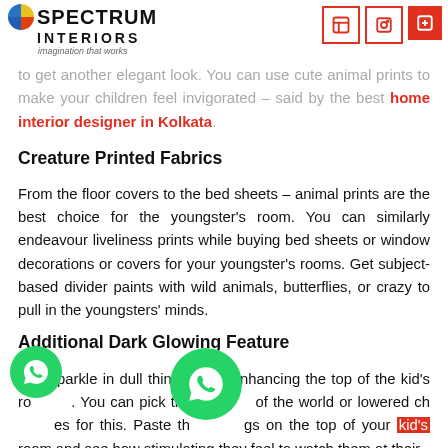[Figure (logo): Spectrum Interiors logo with colorful C icon, tagline 'imagination that works']
[Figure (other): Three social media icons in red outlined boxes (LinkedIn, another, and a filled red box)]
to get another elegant look. You can use cute animal prints to make your children feel invigorated – said by the best home interior designer in Kolkata.
Creature Printed Fabrics
From the floor covers to the bed sheets – animal prints are the best choice for the youngster's room. You can similarly endeavour liveliness prints while buying bed sheets or window decorations or covers for your youngster's rooms. Get subject-based divider paints with wild animals, butterflies, or crazy to pull in the youngsters' minds.
Additional Dark Glowing Feature
Use sparkle in dull things while enhancing the top of the kid's room. You can pick the of the world or lowered chandres for this. Paste the images on the top of your kid's room and see how stimulating they feel to watch them at their